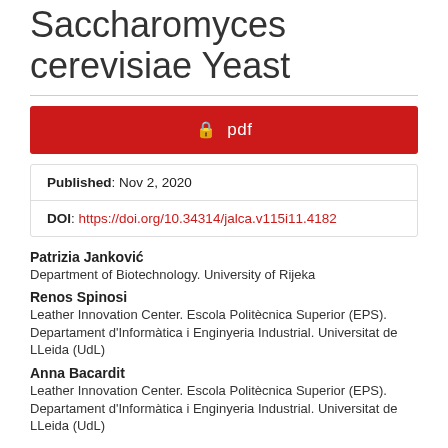Saccharomyces cerevisiae Yeast
[Figure (other): Red PDF download button with lock icon]
Published: Nov 2, 2020
DOI: https://doi.org/10.34314/jalca.v115i11.4182
Patrizia Janković
Department of Biotechnology. University of Rijeka
Renos Spinosi
Leather Innovation Center. Escola Politècnica Superior (EPS). Departament d'Informàtica i Enginyeria Industrial. Universitat de LLeida (UdL)
Anna Bacardit
Leather Innovation Center. Escola Politècnica Superior (EPS). Departament d'Informàtica i Enginyeria Industrial. Universitat de LLeida (UdL)